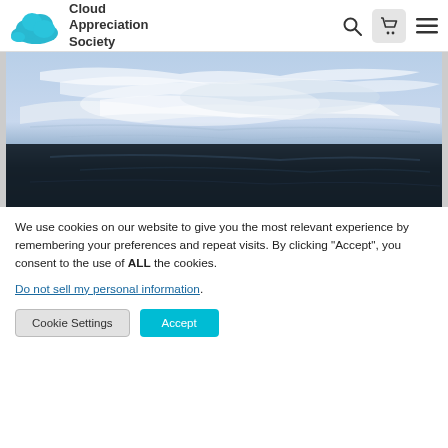Cloud Appreciation Society
[Figure (photo): A sky photo showing wispy white cirrus clouds against a pale blue sky in the upper half, transitioning to a dark near-black sky in the lower half.]
We use cookies on our website to give you the most relevant experience by remembering your preferences and repeat visits. By clicking “Accept”, you consent to the use of ALL the cookies.
Do not sell my personal information.